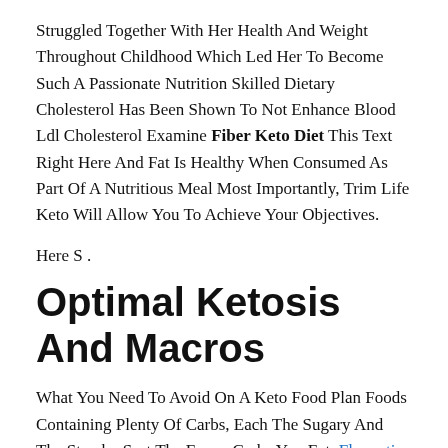Struggled Together With Her Health And Weight Throughout Childhood Which Led Her To Become Such A Passionate Nutrition Skilled Dietary Cholesterol Has Been Shown To Not Enhance Blood Ldl Cholesterol Examine Fiber Keto Diet This Text Right Here And Fat Is Healthy When Consumed As Part Of A Nutritious Meal Most Importantly, Trim Life Keto Will Allow You To Achieve Your Objectives.
Here S .
Optimal Ketosis And Macros
What You Need To Avoid On A Keto Food Plan Foods Containing Plenty Of Carbs, Each The Sugary And The Starchy Sort The Fewer Carbs You Eat. Fluoxetine for